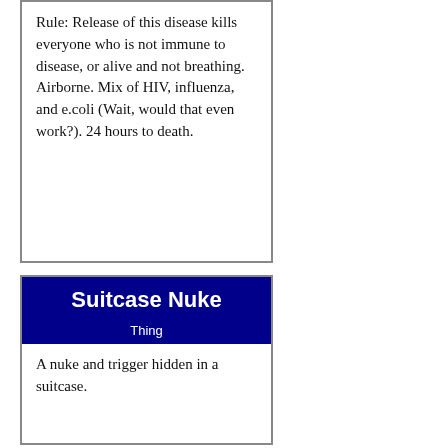Rule: Release of this disease kills everyone who is not immune to disease, or alive and not breathing. Airborne. Mix of HIV, influenza, and e.coli (Wait, would that even work?). 24 hours to death.
Suitcase Nuke
Thing
A nuke and trigger hidden in a suitcase.